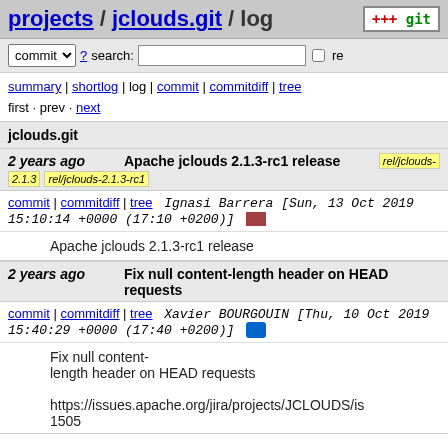projects / jclouds.git / log
commit ? search: re
summary | shortlog | log | commit | commitdiff | tree
first · prev · next
jclouds.git
2 years ago   Apache jclouds 2.1.3-rc1 release   rel/jclouds-2.1.3   rel/jclouds-2.1.3-rc1
commit | commitdiff | tree   Ignasi Barrera [Sun, 13 Oct 2019 15:10:14 +0000 (17:10 +0200)]
Apache jclouds 2.1.3-rc1 release
2 years ago   Fix null content-length header on HEAD requests
commit | commitdiff | tree   Xavier BOURGOUIN [Thu, 10 Oct 2019 15:40:29 +0000 (17:40 +0200)]
Fix null content-length header on HEAD requests

https://issues.apache.org/jira/projects/JCLOUDS/is
1505